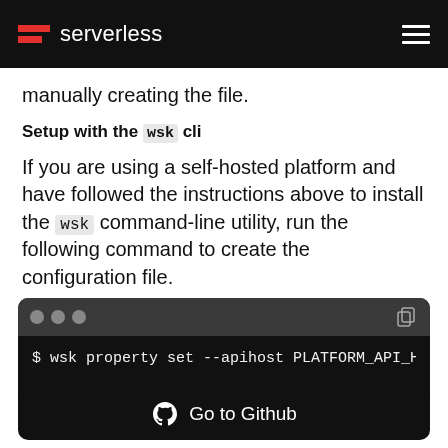serverless
manually creating the file.
Setup with the wsk cli
If you are using a self-hosted platform and have followed the instructions above to install the wsk command-line utility, run the following command to create the configuration file.
[Figure (screenshot): Terminal window showing command: $ wsk property set --apihost PLATFORM_API_HOST]
[Figure (other): Go to Github button with GitHub logo]